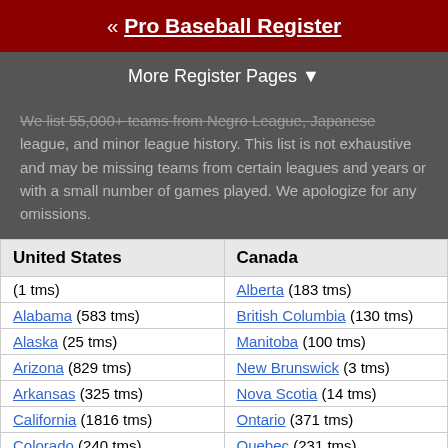« Pro Baseball Register
More Register Pages ▼
We list 55,000+ teams from Negro League, Japanese league, and minor league history. This list is not exhaustive and may be missing teams from certain leagues and years or with a small number of games played. We apologize for any omissions.
| United States | Canada |
| --- | --- |
| (1 tms) | Alberta (183 tms) |
| Alabama (583 tms) | British Columbia (130 tms) |
| Alaska (25 tms) | Manitoba (100 tms) |
| Arizona (829 tms) | New Brunswick (3 tms) |
| Arkansas (325 tms) | Nova Scotia (14 tms) |
| California (1816 tms) | Ontario (371 tms) |
| Colorado (240 tms) | Quebec (231 tms) |
| Connecticut (472 tms) | Saskatchewan (85 tms) |
| Delaware (96 tms) |  |
| District of Columbia (134 tms) |  |